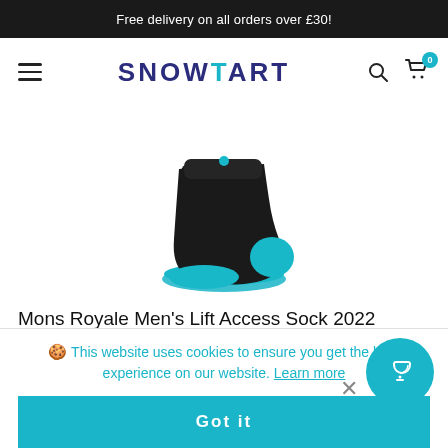Free delivery on all orders over £30!
[Figure (logo): Snowtart logo with hamburger menu, search icon, and basket icon with 0 badge]
[Figure (photo): Black and teal Mons Royale ankle sock product photo on white background]
Mons Royale Men's Lift Access Sock 2022
🍪 This website uses cookies to ensure you get the best experience on our website. Learn more
Got it